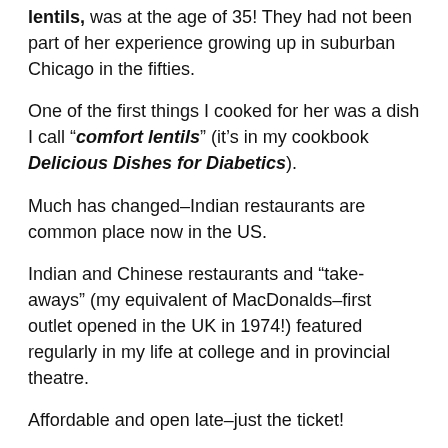lentils, was at the age of 35! They had not been part of her experience growing up in suburban Chicago in the fifties.
One of the first things I cooked for her was a dish I call “comfort lentils” (it’s in my cookbook Delicious Dishes for Diabetics).
Much has changed–Indian restaurants are common place now in the US.
Indian and Chinese restaurants and “take-aways” (my equivalent of MacDonalds–first outlet opened in the UK in 1974!) featured regularly in my life at college and in provincial theatre.
Affordable and open late–just the ticket!
This opinion is based on for the first half…